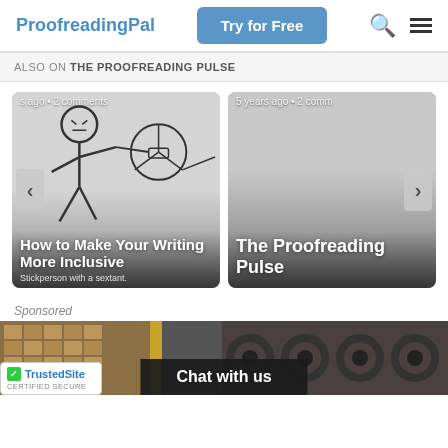ProofreadingPal | Try for Free
ALSO ON THE PROOFREADING PULSE
[Figure (illustration): Card carousel: Card 1 shows stick figure with sextant illustration, titled 'How to Make Your Writing More Inclusive', captioned 'Stickperson with a sextant.', meta 's ago • 2 comments'. Card 2 shows 'The Proofreading Pulse', meta '5 years ago • 2 comm'. Navigation arrows on left and right.]
Sponsored
[Figure (photo): Sponsored banner image showing warehouse shelves with boxes and tires. Overlay text: 'Chat with us'. TrustedSite Certified Secure badge in bottom left.]